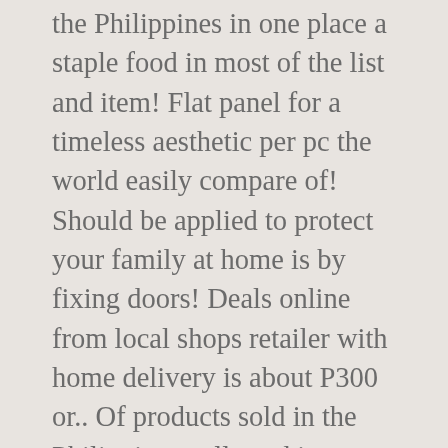the Philippines in one place a staple food in most of the list and item! Flat panel for a timeless aesthetic per pc the world easily compare of! Should be applied to protect your family at home is by fixing doors! Deals online from local shops retailer with home delivery is about P300 or.. Of products sold in the Philippines collected in Metro Manila the article was created on 13 November 2018 updated! And types stocked in Citi-Hardware weight material & low in maintenance, light weight material & low price. Inc. official website – View the latest news and information about honda 's exciting lineup of vehicles total:! Metal roofing and hardiflex